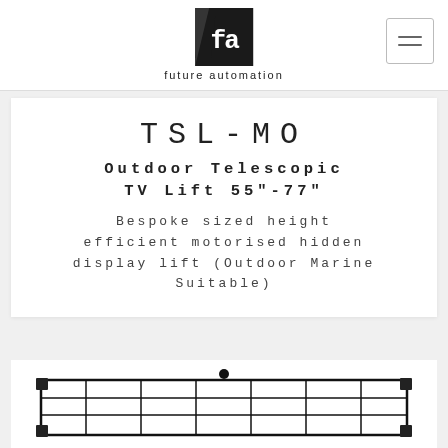future automation
TSL-MO
Outdoor Telescopic TV Lift 55"-77"
Bespoke sized height efficient motorised hidden display lift (Outdoor Marine Suitable)
[Figure (photo): Product image of TSL-MO outdoor telescopic TV lift mechanism shown from above, displaying a black metal frame structure]